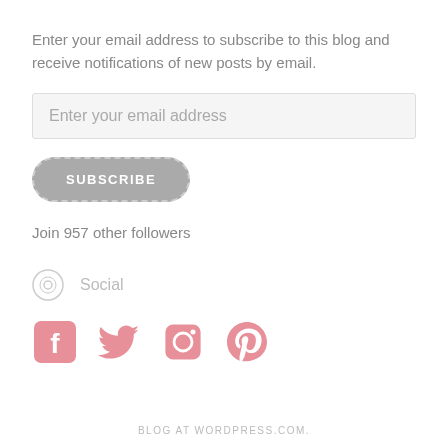Enter your email address to subscribe to this blog and receive notifications of new posts by email.
Enter your email address
SUBSCRIBE
Join 957 other followers
Social
[Figure (infographic): Social media icons: Facebook, Twitter, Instagram, Pinterest — all in pink/salmon color]
BLOG AT WORDPRESS.COM.